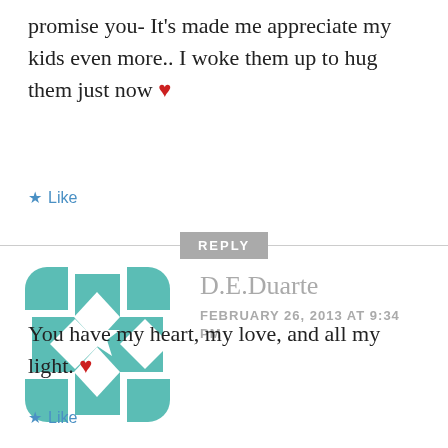promise you- It's made me appreciate my kids even more.. I woke them up to hug them just now ❤
★ Like
REPLY
[Figure (illustration): Teal/green geometric quilt-pattern avatar icon with cross and star shapes]
D.E.Duarte
FEBRUARY 26, 2013 AT 9:34 PM
You have my heart, my love, and all my light. ❤
★ Like